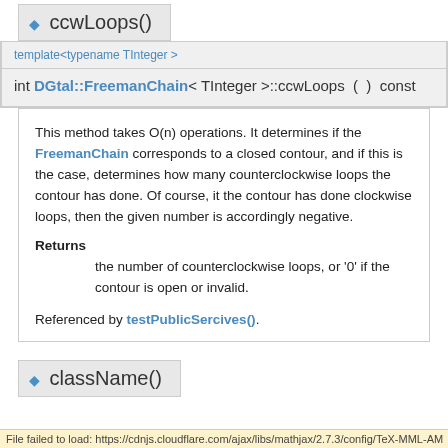◆ ccwLoops()
template<typename TInteger >
int DGtal::FreemanChain< TInteger >::ccwLoops ( ) const
This method takes O(n) operations. It determines if the FreemanChain corresponds to a closed contour, and if this is the case, determines how many counterclockwise loops the contour has done. Of course, it the contour has done clockwise loops, then the given number is accordingly negative.
Returns
the number of counterclockwise loops, or '0' if the contour is open or invalid.
Referenced by testPublicSercives().
◆ className()
File failed to load: https://cdnjs.cloudflare.com/ajax/libs/mathjax/2.7.3/config/TeX-MML-AM